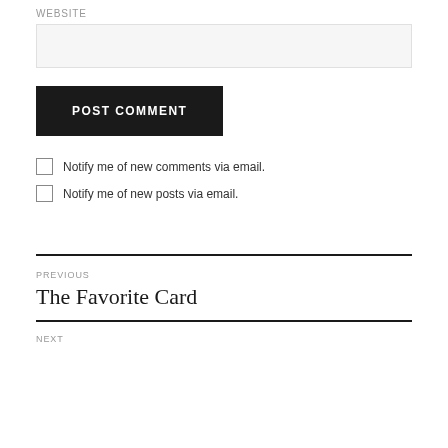WEBSITE
POST COMMENT
Notify me of new comments via email.
Notify me of new posts via email.
PREVIOUS
The Favorite Card
NEXT